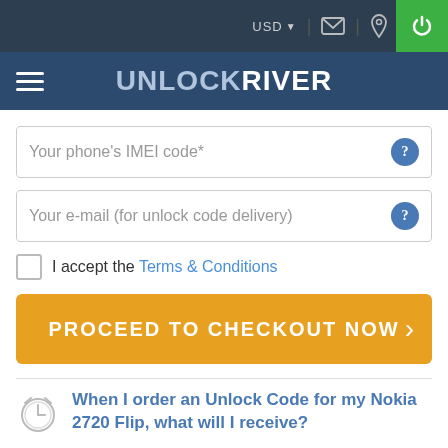USD
UNLOCKRIVER
Your phone's IMEI code*
Your e-mail (for unlock code delivery)
I accept the Terms & Conditions
PROCEED TO CHECKOUT NOW
When I order an Unlock Code for my Nokia 2720 Flip, what will I receive?
We provide you with the Unlock Code to permanently unlock your